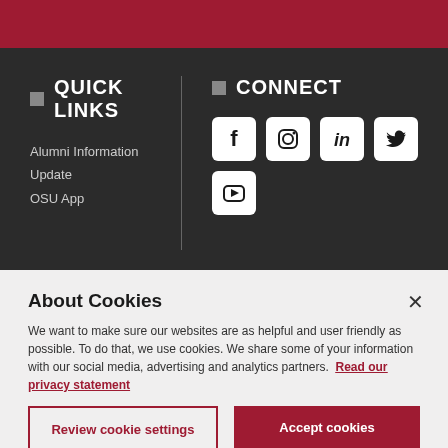QUICK LINKS
Alumni Information Update
OSU App
CONNECT
[Figure (other): Social media icons: Facebook, Instagram, LinkedIn, Twitter, YouTube]
About Cookies
We want to make sure our websites are as helpful and user friendly as possible. To do that, we use cookies. We share some of your information with our social media, advertising and analytics partners. Read our privacy statement
Review cookie settings
Accept cookies